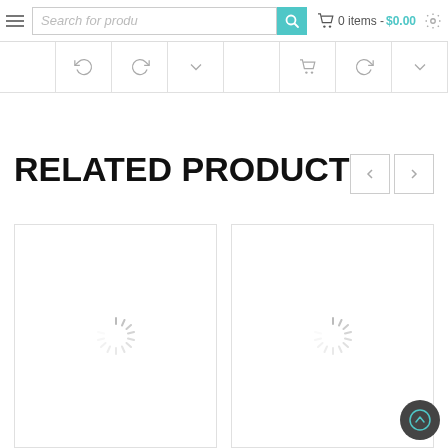Search for produ | 0 items - $0.00
RELATED PRODUCTS
[Figure (screenshot): Loading spinner in left product card]
[Figure (screenshot): Loading spinner in right product card]